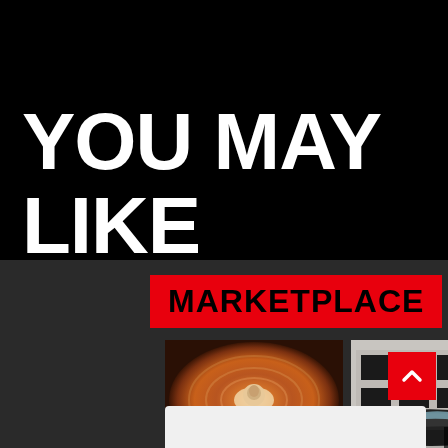YOU MAY LIKE
MARKETPLACE
[Figure (photo): Stevie Wonder album cover with swirling orange/brown circular design and portrait in center, price tag $20]
[Figure (photo): Classic black and white sports car (Corvette) parked in front of a building with black shutters, price tag $89,000]